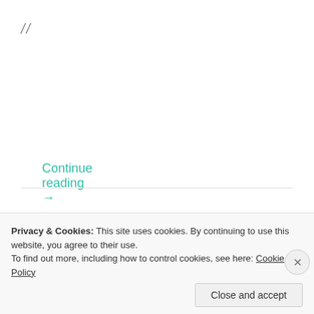//
Continue reading →
[Figure (other): Horizontal separator line]
[Figure (screenshot): Search bar with input placeholder 'Search ...' and a teal SEARCH button]
Privacy & Cookies: This site uses cookies. By continuing to use this website, you agree to their use.
To find out more, including how to control cookies, see here: Cookie Policy
Close and accept